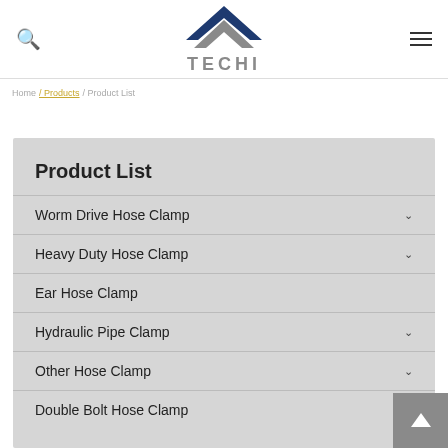[Figure (logo): TECHI company logo with blue and grey chevron/roof shape above the text TECHI]
Home / Products
Product List
Worm Drive Hose Clamp
Heavy Duty Hose Clamp
Ear Hose Clamp
Hydraulic Pipe Clamp
Other Hose Clamp
Double Bolt Hose Clamp